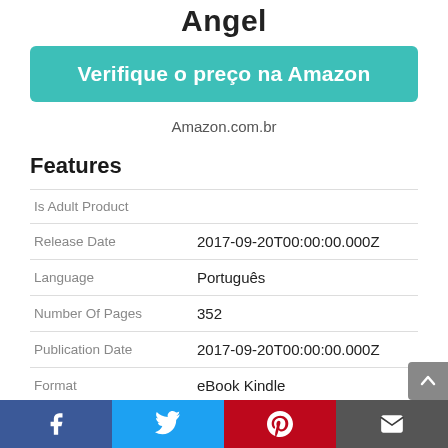Angel
Verifique o preço na Amazon
Amazon.com.br
Features
|  |  |
| --- | --- |
| Is Adult Product |  |
| Release Date | 2017-09-20T00:00:00.000Z |
| Language | Português |
| Number Of Pages | 352 |
| Publication Date | 2017-09-20T00:00:00.000Z |
| Format | eBook Kindle |
Facebook | Twitter | Pinterest | Email